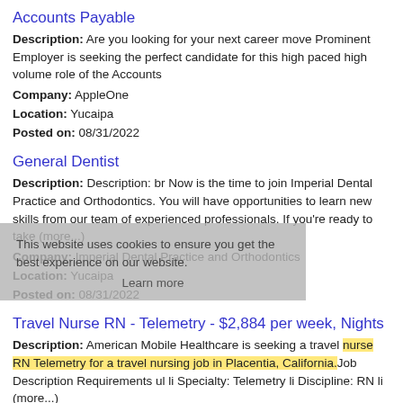Accounts Payable
Description: Are you looking for your next career move Prominent Employer is seeking the perfect candidate for this high paced high volume role of the Accounts
Company: AppleOne
Location: Yucaipa
Posted on: 08/31/2022
General Dentist
Description: Description: br Now is the time to join Imperial Dental Practice and Orthodontics. You will have opportunities to learn new skills from our team of experienced professionals. If you're ready to take (more...)
Company: Imperial Dental Practice and Orthodontics
Location: Yucaipa
Posted on: 08/31/2022
Travel Nurse RN - Telemetry - $2,884 per week, Nights
Description: American Mobile Healthcare is seeking a travel nurse RN Telemetry for a travel nursing job in Placentia, California.Job Description Requirements ul li Specialty: Telemetry li Discipline: RN li (more...)
Company: American Mobile Healthcare